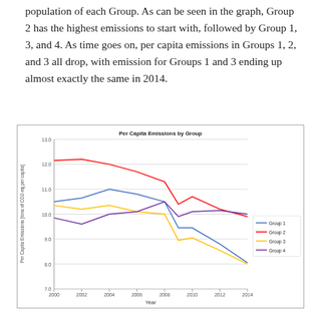population of each Group. As can be seen in the graph, Group 2 has the highest emissions to start with, followed by Group 1, 3, and 4. As time goes on, per capita emissions in Groups 1, 2, and 3 all drop, with emission for Groups 1 and 3 ending up almost exactly the same in 2014.
[Figure (line-chart): Per Capita Emissions by Group]